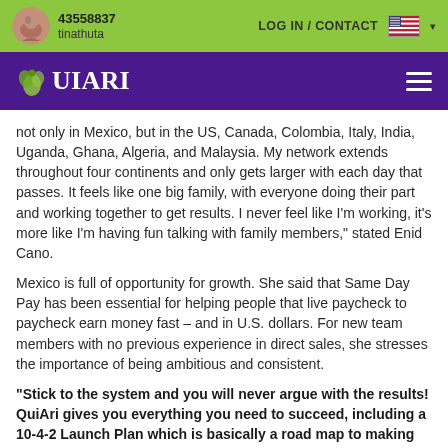43558837 tinathuta | LOG IN / CONTACT
QuiAri
not only in Mexico, but in the US, Canada, Colombia, Italy, India, Uganda, Ghana, Algeria, and Malaysia. My network extends throughout four continents and only gets larger with each day that passes. It feels like one big family, with everyone doing their part and working together to get results. I never feel like I'm working, it's more like I'm having fun talking with family members," stated Enid Cano.
Mexico is full of opportunity for growth. She said that Same Day Pay has been essential for helping people that live paycheck to paycheck earn money fast – and in U.S. dollars. For new team members with no previous experience in direct sales, she stresses the importance of being ambitious and consistent.
"Stick to the system and you will never argue with the results! QuiAri gives you everything you need to succeed, including a 10-4-2 Launch Plan which is basically a road map to making your dreams